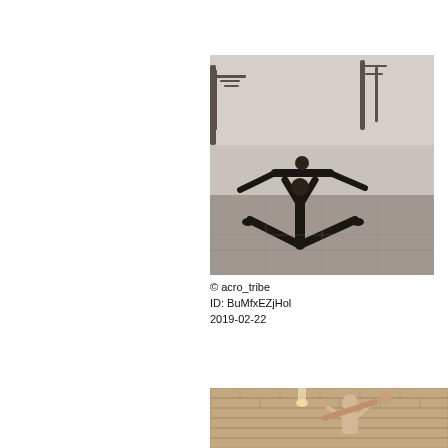[Figure (photo): Black and white photo of two acrobats performing a balancing pose outdoors on a paved area with bare winter trees and a misty background. One person is being held horizontally by another who is in a wide stance.]
© acro_tribe
ID: BuMfxEZjHol
2019-02-22
[Figure (photo): Color photo of two people performing an acro-yoga or acrobatics pose indoors against a brick wall background with a bookshelf visible. One person holds the other aloft.]